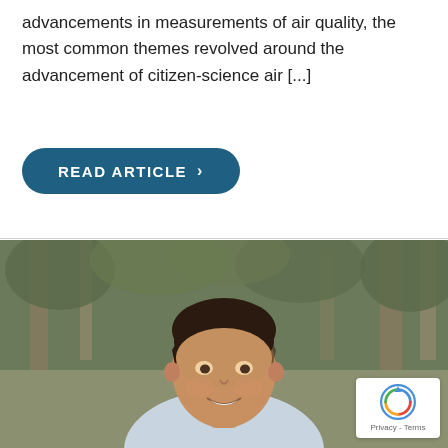advancements in measurements of air quality, the most common themes revolved around the advancement of citizen-science air [...]
[Figure (other): A teal/dark-blue pill-shaped button with white uppercase text 'READ ARTICLE' followed by a '>' arrow]
[Figure (photo): Outdoor portrait of a smiling man with dark hair slicked back, wearing a light blue checkered shirt, with blurred trees in the background. A reCAPTCHA badge with Privacy-Terms text is visible in the bottom-right corner.]